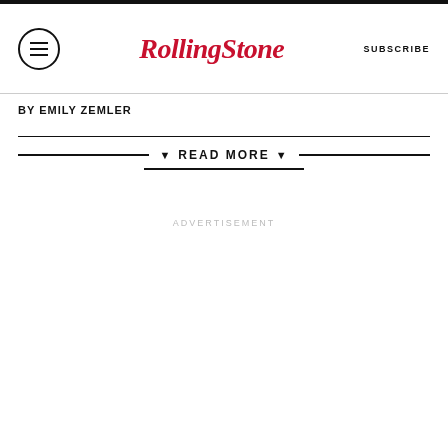Rolling Stone | SUBSCRIBE
BY EMILY ZEMLER
▼ READ MORE ▼
ADVERTISEMENT